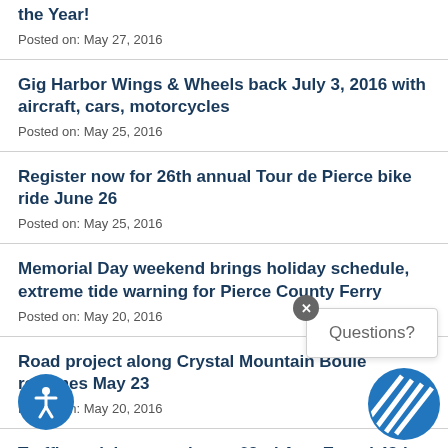the Year!
Posted on: May 27, 2016
Gig Harbor Wings & Wheels back July 3, 2016 with aircraft, cars, motorcycles
Posted on: May 25, 2016
Register now for 26th annual Tour de Pierce bike ride June 26
Posted on: May 25, 2016
Memorial Day weekend brings holiday schedule, extreme tide warning for Pierce County Ferry
Posted on: May 20, 2016
Road project along Crystal Mountain Boulevard resumes May 23
Posted on: May 20, 2016
Traffic revisions coming to 62nd Ave. E. and 48th St. E. SW of River Road May 18